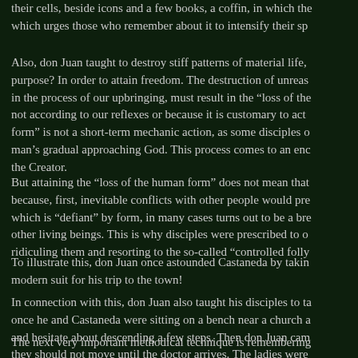their cells, beside icons and a few books, a coffin, in which the which urges those who remember about it to intensify their sp
Also, don Juan taught to destroy stiff patterns of material life, purpose? In order to attain freedom. The destruction of unreas in the process of our upbringing, must result in the “loss of the not according to our reflexes or because it is customary to act form” is not a short-term mechanic action, as some disciples o man’s gradual approaching God. This process comes to an enc the Creator.
But attaining the “loss of the human form” does not mean that because, first, inevitable conflicts with other people would pre which is “defiant” by form, in many cases turns out to be a bre other living beings. This is why disciples were prescribed to o ridiculing them and resorting to the so-called “controlled folly
To illustrate this, don Juan once astounded Castaneda by takin modern suit for his trip to the town!
In connection with this, don Juan also taught his disciples to ta once he and Castaneda were sitting on a bench near a church a and hesitate about descending a few steps. Then don Juan cam they should not move until the doctor arrives. The ladies were
The next very important methodical technique is remembering